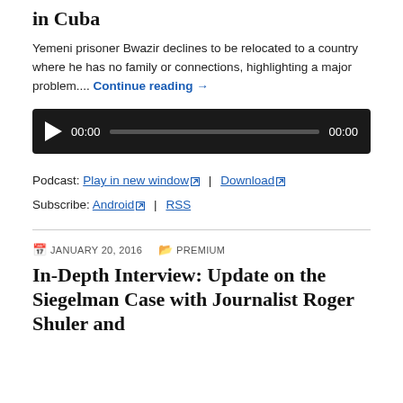in Cuba
Yemeni prisoner Bwazir declines to be relocated to a country where he has no family or connections, highlighting a major problem.... Continue reading →
[Figure (other): Audio player bar with play button, time display 00:00, progress bar, and end time 00:00]
Podcast: Play in new window | Download
Subscribe: Android | RSS
JANUARY 20, 2016  PREMIUM
In-Depth Interview: Update on the Siegelman Case with Journalist Roger Shuler and